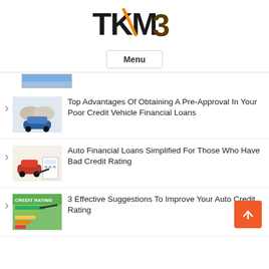[Figure (logo): TKM 3 logo with orange checkmark and stylized '3' character]
Menu
[Figure (photo): Partial image of handshake/car scene at top of list]
Top Advantages Of Obtaining A Pre-Approval In Your Poor Credit Vehicle Financial Loans
Auto Financial Loans Simplified For Those Who Have Bad Credit Rating
3 Effective Suggestions To Improve Your Auto Credit Rating